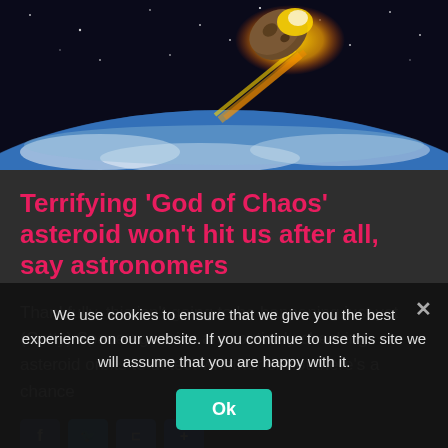[Figure (illustration): Dramatic space illustration showing a rocky asteroid/meteorite with glowing fire trail descending toward the curve of Earth's atmosphere against a dark starry sky background.]
Terrifying ‘God of Chaos’ asteroid won’t hit us after all, say astronomers
Thankfully, this isn't going to be happening just yet (Getty) Space agencies are routinely checking asteroid orbits to detect whether or not there's a chance
We use cookies to ensure that we give you the best experience on our website. If you continue to use this site we will assume that you are happy with it.